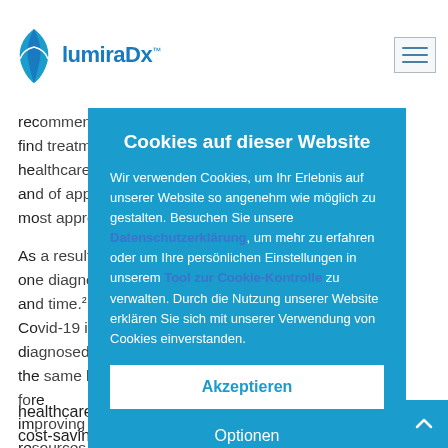LumiraDx
rec... find... in he... nt an... mo...
As... one... ly an... .2 Co... di... in the... ore im... re... es to d... or refe...
[Figure (screenshot): Cookie consent modal dialog on LumiraDx website in German. Title: 'Cookies auf dieser Website'. Body text explains cookie usage and links to Datenschutzerklärung and Tool zur Cookie-Kontrolle. Two buttons: Akzeptieren (Accept) and Optionen (Options).]
healthcare systems could benefit from the potential cost-savings achieved by having more patients